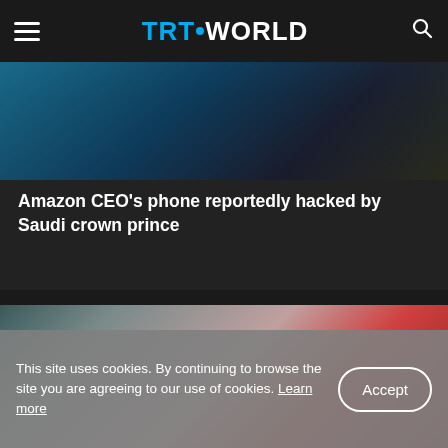TRT WORLD
[Figure (photo): Blurred photo of a person against a dark blue background, partially visible from upper body]
Amazon CEO's phone reportedly hacked by Saudi crown prince
[Figure (photo): Blurred photo with teal/grey on left and reddish tones on right, obscured face]
This site uses cookies. By continuing to browse the site you are agreeing to our use of cookies. Learn more